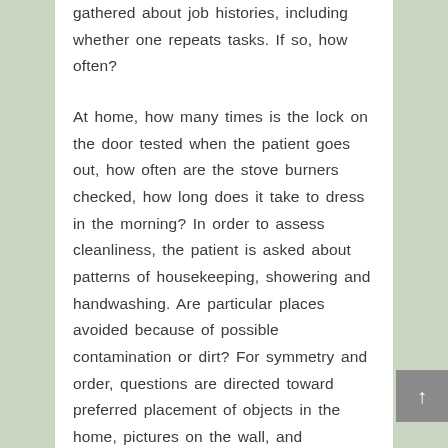gathered about job histories, including whether one repeats tasks. If so, how often?
At home, how many times is the lock on the door tested when the patient goes out, how often are the stove burners checked, how long does it take to dress in the morning? In order to assess cleanliness, the patient is asked about patterns of housekeeping, showering and handwashing. Are particular places avoided because of possible contamination or dirt? For symmetry and order, questions are directed toward preferred placement of objects in the home, pictures on the wall, and